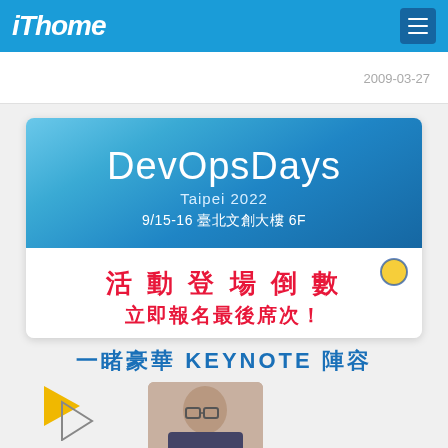iThome
2009-03-27
[Figure (illustration): DevOpsDays Taipei 2022 event banner showing event title, date 9/15-16 at 臺北文創大樓 6F, countdown text '活動登場倒數' and '立即報名最後席次！' in red bold text on white background, with blue gradient upper portion]
一睹豪華 KEYNOTE 陣容
[Figure (photo): Photo of a speaker at the bottom of the page, partially visible, with decorative yellow/gold arrows pointing right on the left side]